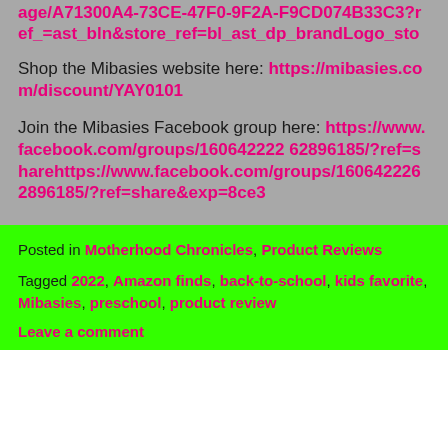age/A71300A4-73CE-47F0-9F2A-F9CD074B33C3?ref_=ast_bln&store_ref=bl_ast_dp_brandLogo_sto
Shop the Mibasies website here: https://mibasies.com/discount/YAY0101
Join the Mibasies Facebook group here: https://www.facebook.com/groups/160642226 2896185/?ref=sharehttps://www.facebook.com/groups/1606422262896185/?ref=share&exp=8ce3
Posted in Motherhood Chronicles, Product Reviews
Tagged 2022, Amazon finds, back-to-school, kids favorite, Mibasies, preschool, product review
Leave a comment